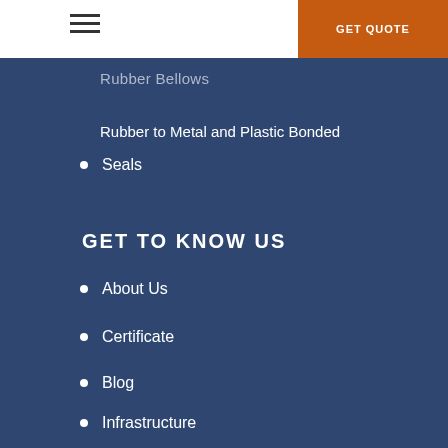GET QUOTE
Rubber Bellows
Rubber to Metal and Plastic Bonded
Seals
GET TO KNOW US
About Us
Certificate
Blog
Infrastructure
Contact Us